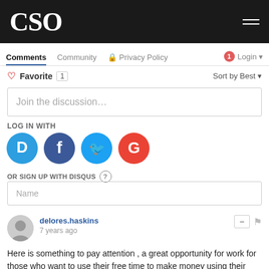CSO
Comments  Community  Privacy Policy  1  Login
♡ Favorite 1   Sort by Best
Join the discussion…
LOG IN WITH
[Figure (illustration): Social login icons: Disqus (blue D), Facebook (dark blue f), Twitter (light blue bird), Google (red G)]
OR SIGN UP WITH DISQUS ?
Name
delores.haskins
7 years ago
Here is something to pay attention , a great opportunity for work for those who want to use their free time to make money using their computers... I have been doing this since last two years